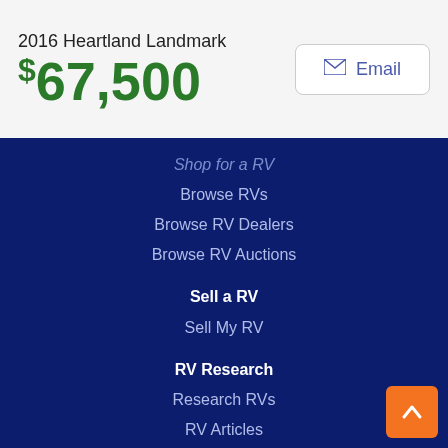2016 Heartland Landmark
$67,500
Email
Shop for a RV
Browse RVs
Browse RV Dealers
Browse RV Auctions
Sell a RV
Sell My RV
RV Research
Research RVs
RV Articles
RV Resources
RV Events
About Us
Contact Us
Fraud Awareness
FAQs